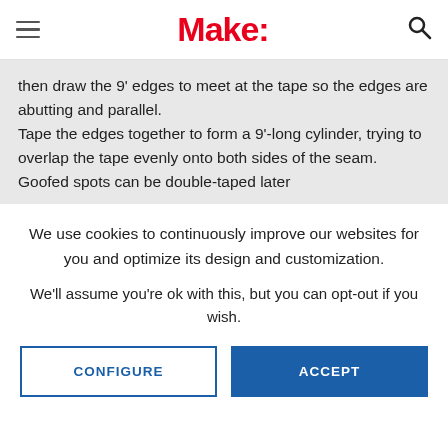Make:
then draw the 9' edges to meet at the tape so the edges are abutting and parallel. Tape the edges together to form a 9'-long cylinder, trying to overlap the tape evenly onto both sides of the seam. Goofed spots can be double-taped later
We use cookies to continuously improve our websites for you and optimize its design and customization.
We'll assume you're ok with this, but you can opt-out if you wish.
CONFIGURE
ACCEPT